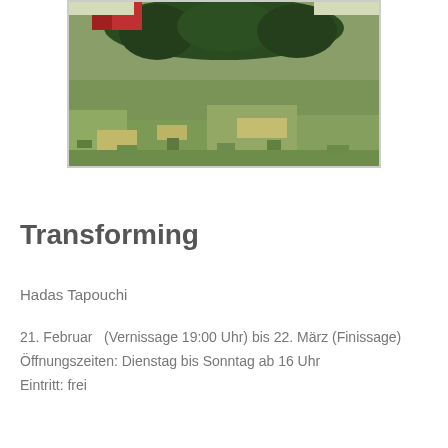[Figure (photo): Outdoor photograph showing a green lawn with a circular shaped hedge/topiary in the background. A red structure is partially visible behind the hedge. The scene appears to be a garden or park setting.]
Transforming
Hadas Tapouchi
21. Februar   (Vernissage 19:00 Uhr) bis 22. März (Finissage)
Öffnungszeiten: Dienstag bis Sonntag ab 16 Uhr
Eintritt: frei